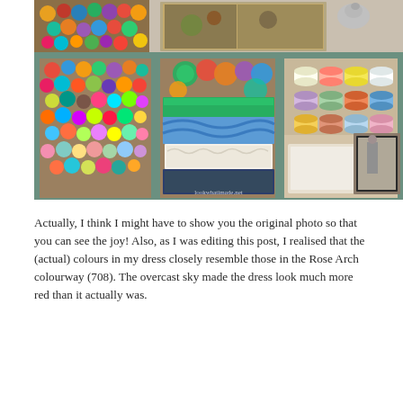[Figure (photo): A photo of rustic mint-green painted wooden cabinet with glass doors displaying colorful yarn balls, thread spools, and folded knitted/crocheted items. The cabinet has three compartments: left filled with many colorful yarn balls, center with folded knitted items in blue, green and cream, right with thread spools in various colors. A framed black-and-white photo and artwork are visible in the background. A watermark reads 'lookwhatimade.net'.]
Actually, I think I might have to show you the original photo so that you can see the joy!  Also, as I was editing this post, I realised that the (actual) colours in my dress closely resemble those in the Rose Arch colourway (708).  The overcast sky made the dress look much more red than it actually was.